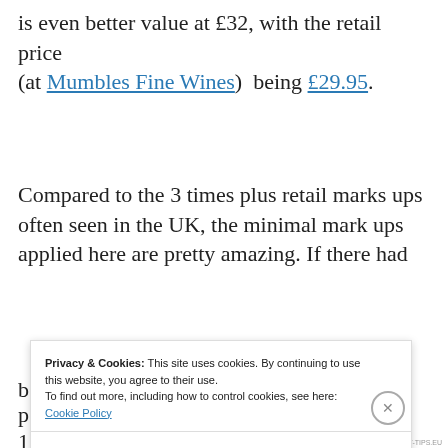is even better value at £32, with the retail price (at Mumbles Fine Wines)  being £29.95.
Compared to the 3 times plus retail marks ups often seen in the UK, the minimal mark ups applied here are pretty amazing. If there had b...
Privacy & Cookies: This site uses cookies. By continuing to use this website, you agree to their use. To find out more, including how to control cookies, see here: Cookie Policy
Close and accept